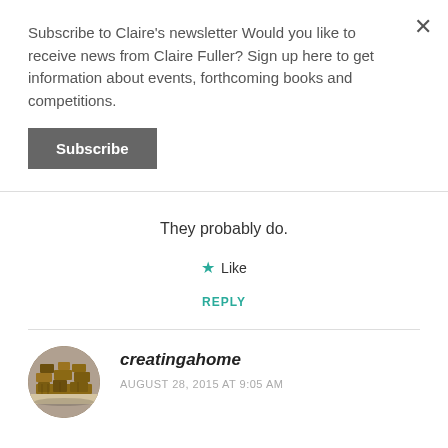Subscribe to Claire's newsletter Would you like to receive news from Claire Fuller? Sign up here to get information about events, forthcoming books and competitions.
Subscribe
×
They probably do.
★ Like
REPLY
[Figure (photo): Circular avatar photo of creatingahome commenter, showing stacked wooden crates or pallets]
creatingahome
AUGUST 28, 2015 AT 9:05 AM